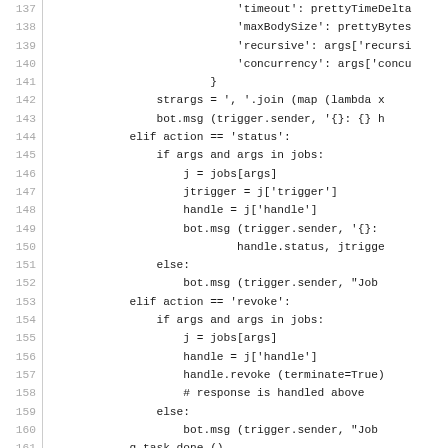[Figure (screenshot): Source code listing showing Python code lines 137-166, with line numbers on the left separated by a vertical bar, and code on the right in monospace font. The code includes dictionary entries, string formatting, elif/if/else blocks for action=='status' and action=='revoke', and a class definition for NonExitingArgumentParser.]